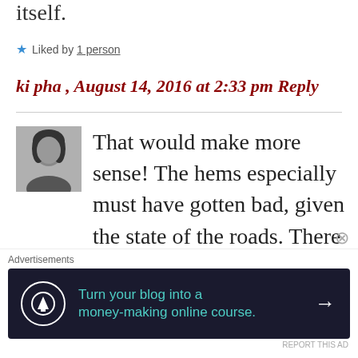itself.
★ Liked by 1 person
ki pha , August 14, 2016 at 2:33 pm Reply
[Figure (photo): Black and white profile photo of a young woman with dark hair]
That would make more sense! The hems especially must have gotten bad, given the state of the roads. There were heeled
Advertisements
Turn your blog into a money-making online course. →